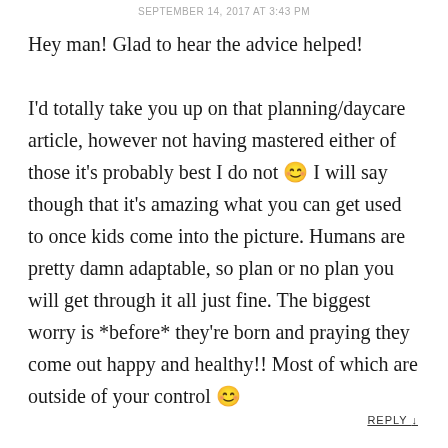SEPTEMBER 14, 2017 AT 3:43 PM
Hey man! Glad to hear the advice helped!

I'd totally take you up on that planning/daycare article, however not having mastered either of those it's probably best I do not 😊 I will say though that it's amazing what you can get used to once kids come into the picture. Humans are pretty damn adaptable, so plan or no plan you will get through it all just fine. The biggest worry is *before* they're born and praying they come out happy and healthy!! Most of which are outside of your control 😊
REPLY ↓